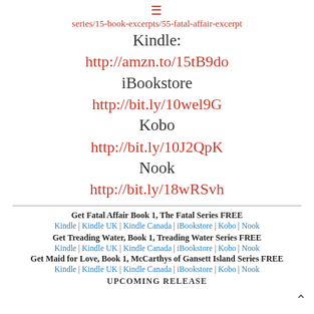[Figure (other): Hamburger menu icon (three horizontal lines) in red/pink color]
series/15-book-excerpts/55-fatal-affair-excerpt
Kindle:
http://amzn.to/15tB9do
iBookstore
http://bit.ly/10wel9G
Kobo
http://bit.ly/10J2QpK
Nook
http://bit.ly/18wRSvh
Get Fatal Affair Book 1, The Fatal Series FREE
Kindle | Kindle UK | Kindle Canada | iBookstore | Kobo | Nook
Get Treading Water, Book 1, Treading Water Series FREE
Kindle | Kindle UK | Kindle Canada | iBookstore | Kobo | Nook
Get Maid for Love, Book 1, McCarthys of Gansett Island Series FREE
Kindle | Kindle UK | Kindle Canada | iBookstore | Kobo | Nook
UPCOMING RELEASE